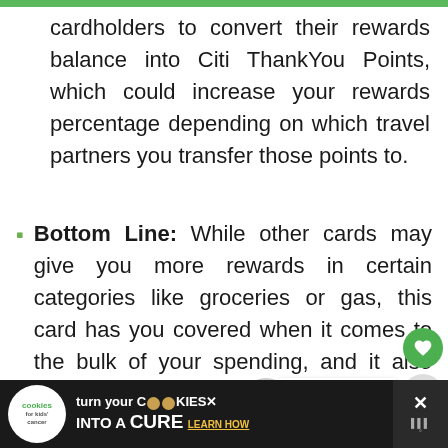cardholders to convert their rewards balance into Citi ThankYou Points, which could increase your rewards percentage depending on which travel partners you transfer those points to.
Bottom Line: While other cards may give you more rewards in certain categories like groceries or gas, this card has you covered when it comes to the bulk of your spending, and it also comes with a higher-than-average 18-month introductory APR period.
[Figure (screenshot): Ad banner: cookies for kids cancer — turn your cookies into a CURE, LEARN HOW]